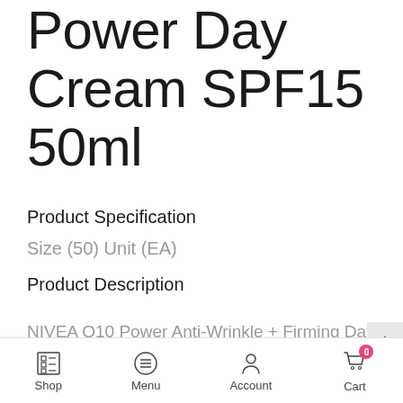NIVEA Q10 Power Day Cream SPF15 50ml
Product Specification
Size (50) Unit (EA)
Product Description
NIVEA Q10 Power Anti-Wrinkle + Firming Day Cream SPF15 – for visibly younger-looking skin! NIVEA's Anti-Wrinkle
Shop | Menu | Account | Cart 0